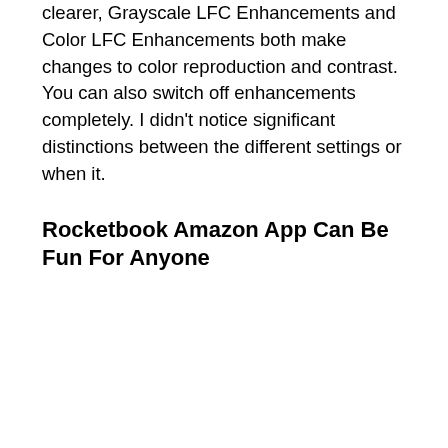clearer, Grayscale LFC Enhancements and Color LFC Enhancements both make changes to color reproduction and contrast. You can also switch off enhancements completely. I didn't notice significant distinctions between the different settings or when it.
Rocketbook Amazon App Can Be Fun For Anyone